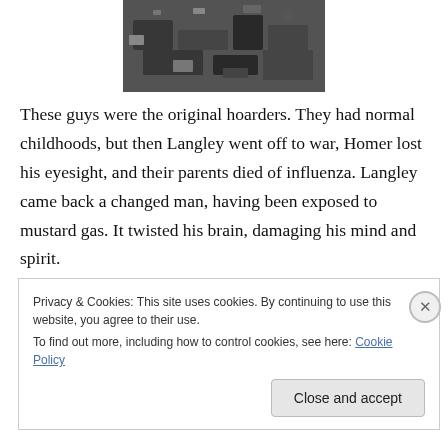[Figure (photo): Black and white photograph showing a cluttered pile of hoarded objects and debris.]
These guys were the original hoarders.  They had normal childhoods, but then Langley went off to war, Homer lost his eyesight, and their parents died of influenza.  Langley came back a changed man, having been exposed to mustard gas.  It twisted his brain, damaging his mind and spirit.
Privacy & Cookies: This site uses cookies. By continuing to use this website, you agree to their use.
To find out more, including how to control cookies, see here: Cookie Policy